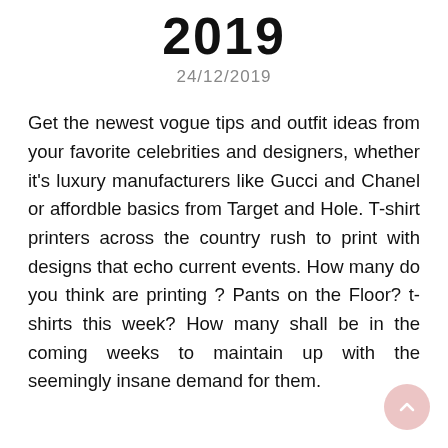2019
24/12/2019
Get the newest vogue tips and outfit ideas from your favorite celebrities and designers, whether it's luxury manufacturers like Gucci and Chanel or affordble basics from Target and Hole. T-shirt printers across the country rush to print with designs that echo current events. How many do you think are printing ? Pants on the Floor? t-shirts this week? How many shall be in the coming weeks to maintain up with the seemingly insane demand for them.